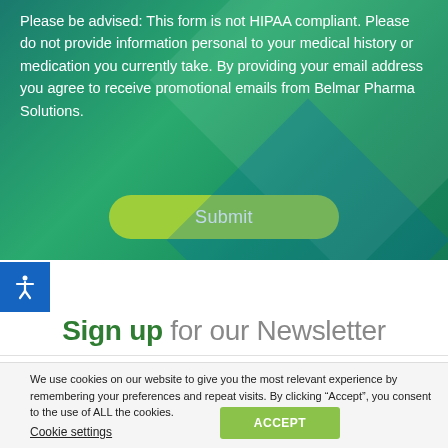Please be advised: This form is not HIPAA compliant. Please do not provide information personal to your medical history or medication you currently take. By providing your email address you agree to receive promotional emails from Belmar Pharma Solutions.
[Figure (other): Green submit button with rounded corners labeled 'Submit']
[Figure (other): Blue accessibility icon with stick figure (universal access symbol)]
Sign up for our Newsletter
We use cookies on our website to give you the most relevant experience by remembering your preferences and repeat visits. By clicking “Accept”, you consent to the use of ALL the cookies.
Cookie settings
ACCEPT